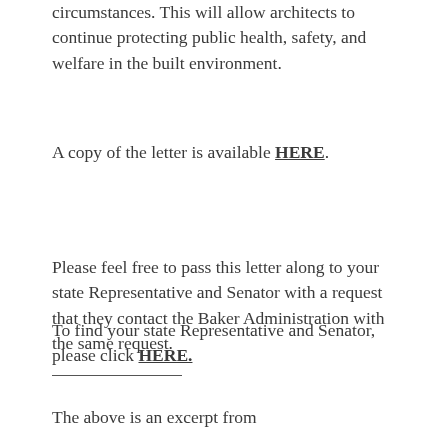circumstances. This will allow architects to continue protecting public health, safety, and welfare in the built environment.
A copy of the letter is available HERE.
Please feel free to pass this letter along to your state Representative and Senator with a request that they contact the Baker Administration with the same request.
To find your state Representative and Senator, please click HERE.
The above is an excerpt from